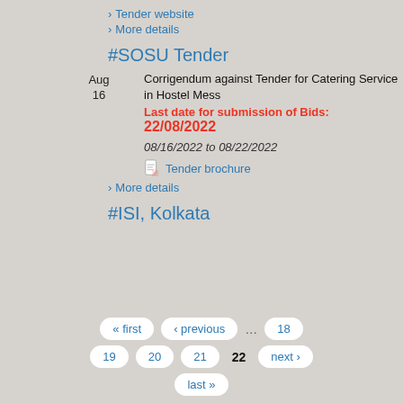> Tender website
> More details
#SOSU Tender
Aug
16
Corrigendum against Tender for Catering Service in Hostel Mess
Last date for submission of Bids: 22/08/2022
08/16/2022 to 08/22/2022
Tender brochure
> More details
#ISI, Kolkata
« first ‹ previous … 18 19 20 21 22 next › last »